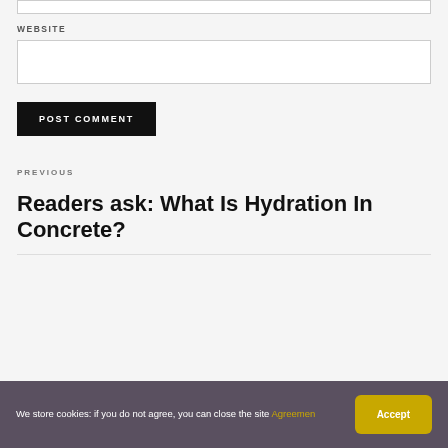WEBSITE
POST COMMENT
PREVIOUS
Readers ask: What Is Hydration In Concrete?
We store cookies: if you do not agree, you can close the site Agreemen
Accept